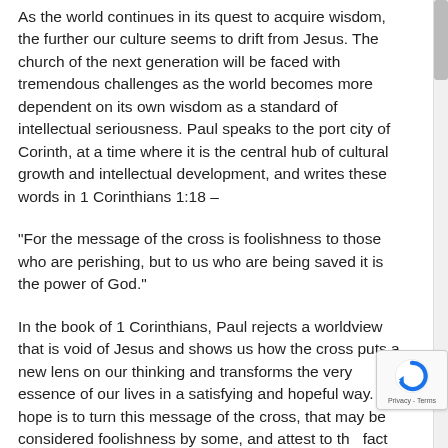As the world continues in its quest to acquire wisdom, the further our culture seems to drift from Jesus. The church of the next generation will be faced with tremendous challenges as the world becomes more dependent on its own wisdom as a standard of intellectual seriousness. Paul speaks to the port city of Corinth, at a time where it is the central hub of cultural growth and intellectual development, and writes these words in 1 Corinthians 1:18 –
“For the message of the cross is foolishness to those who are perishing, but to us who are being saved it is the power of God.”
In the book of 1 Corinthians, Paul rejects a worldview that is void of Jesus and shows us how the cross puts a new lens on our thinking and transforms the very essence of our lives in a satisfying and hopeful way. My hope is to turn this message of the cross, that may be considered foolishness by some, and attest to the fact that it can have life-giving implications on their lives